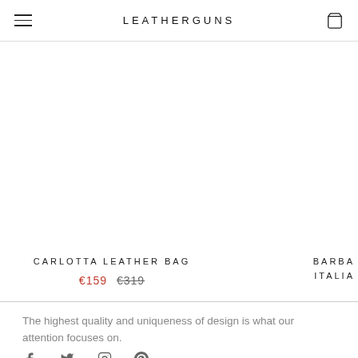LEATHERGUNS
[Figure (screenshot): Product listing area showing Carlotta Leather Bag with sale price €159 and original price €319, and partial view of another product (BARBA ITALIA) on the right]
CARLOTTA LEATHER BAG
€159  €319
BARBA ITALIA
The highest quality and uniqueness of design is what our attention focuses on.
[Figure (other): Social media icons: Facebook, Twitter, Instagram, Pinterest]